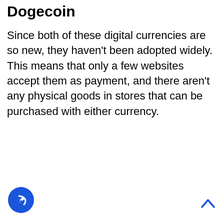Dogecoin
Since both of these digital currencies are so new, they haven't been adopted widely. This means that only a few websites accept them as payment, and there aren't any physical goods in stores that can be purchased with either currency.
[Figure (other): Blue circular share/forward button icon at bottom left]
[Figure (other): Blue upward chevron/arrow icon at bottom right]